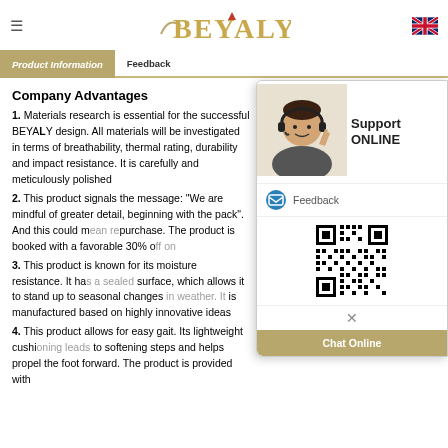BEYALY
Company Advantages
1. Materials research is essential for the successful BEYALY design. All materials will be investigated in terms of breathability, thermal rating, durability and impact resistance. It is carefully and meticulously polished
2. This product signals the message: "We are mindful of greater detail, beginning with the pack". And this could m... purchase. The product is booked with a favorable 30% o...
3. This product is known for its moisture resistance. It ha... surface, which allows it to stand up to seasonal changes... is manufactured based on highly innovative ideas
4. This product allows for easy gait. Its lightweight cushi... to softening steps and helps propel the foot forward. The product is provided with
[Figure (screenshot): Support ONLINE popup widget with agent photo, Feedback button with email icon, QR code, close button, and Chat Online button]